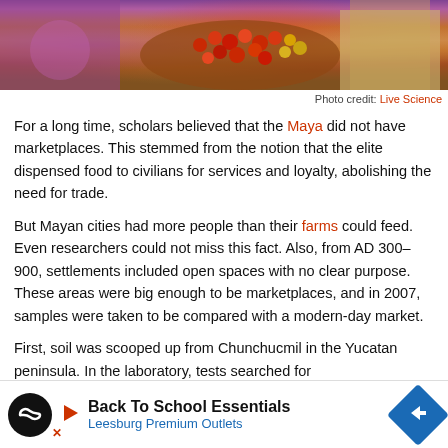[Figure (photo): Photo of a person sorting red berries/seeds in a basket at a market, with colorful clothing visible]
Photo credit: Live Science
For a long time, scholars believed that the Maya did not have marketplaces. This stemmed from the notion that the elite dispensed food to civilians for services and loyalty, abolishing the need for trade.
But Mayan cities had more people than their farms could feed. Even researchers could not miss this fact. Also, from AD 300–900, settlements included open spaces with no clear purpose. These areas were big enough to be marketplaces, and in 2007, samples were taken to be compared with a modern-day market.
First, soil was scooped up from Chunchucmil in the Yucatan peninsula. In the laboratory, tests searched for phosph... Any food m...
[Figure (other): Advertisement banner: Back To School Essentials - Leesburg Premium Outlets]